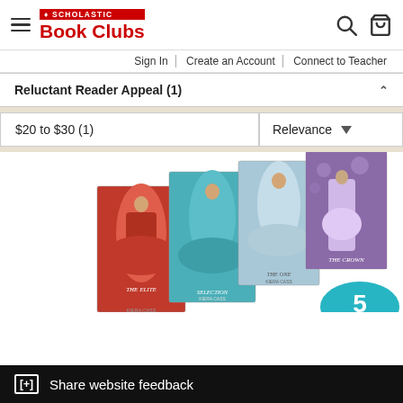Scholastic Book Clubs
Sign In | Create an Account | Connect to Teacher
Reluctant Reader Appeal (1)
$20 to $30 (1)
Relevance
[Figure (photo): Multiple book covers fanned out showing The Selection series books by Kiera Cass, with a teal circular badge showing the number 5]
[+] Share website feedback